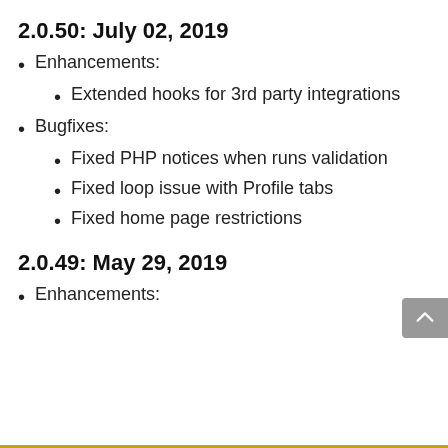2.0.50: July 02, 2019
Enhancements:
Extended hooks for 3rd party integrations
Bugfixes:
Fixed PHP notices when runs validation
Fixed loop issue with Profile tabs
Fixed home page restrictions
2.0.49: May 29, 2019
Enhancements: